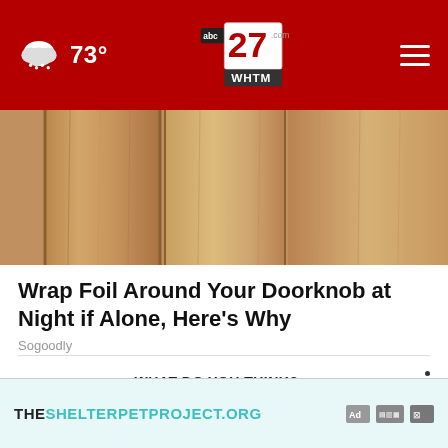73° abc27 WHTM
[Figure (photo): Close-up photo of wooden door panels with vertical grain pattern in warm brown tones]
Wrap Foil Around Your Doorknob at Night if Alone, Here's Why
Sogoodly
WHAT DO YOU THINK?
How often do other people mispronounce your first name?
Very often
[Figure (screenshot): Ad banner for THESHELTERPETPROJECT.ORG with teal text on light blue background]